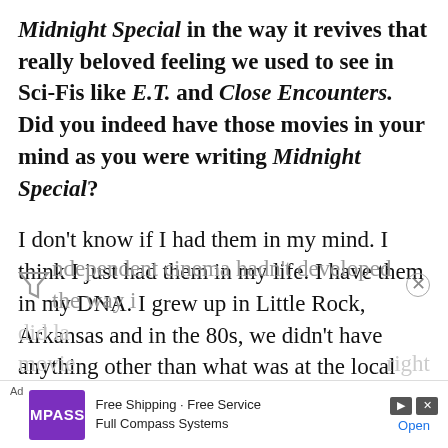Midnight Special in the way it revives that really beloved feeling we used to see in Sci-Fis like E.T. and Close Encounters. Did you indeed have those movies in your mind as you were writing Midnight Special?
I don't know if I had them in my mind. I think I just had them in my life. I have them in my DNA. I grew up in Little Rock, Arkansas and in the 80s, we didn't have anything other than what was at the local cinema. We didn't have foreign films. Independent cinema hadn't developed the way it did la... movie... right...